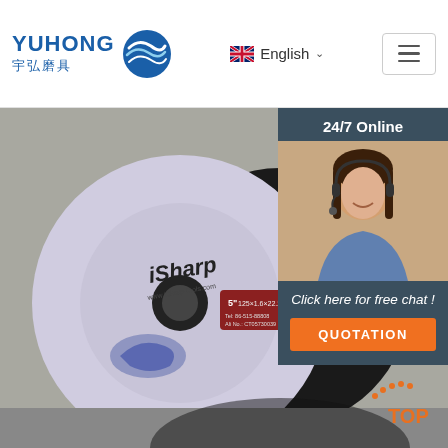YUHONG 宇弘磨具 — English — navigation menu
[Figure (photo): Product photo showing two iSharp abrasive cutting discs (5 inch / 125x1.6x22.2mm) with shark logo on a grey background, with an overlay panel showing a customer service agent (24/7 Online, Click here for free chat!, QUOTATION button) and a TOP back-to-top button in the bottom-right corner.]